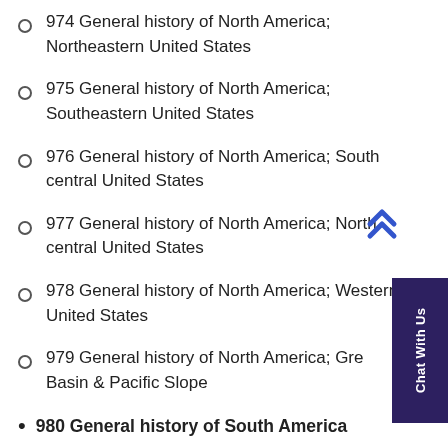974 General history of North America; Northeastern United States
975 General history of North America; Southeastern United States
976 General history of North America; South central United States
977 General history of North America; North central United States
978 General history of North America; Western United States
979 General history of North America; Great Basin & Pacific Slope
980 General history of South America